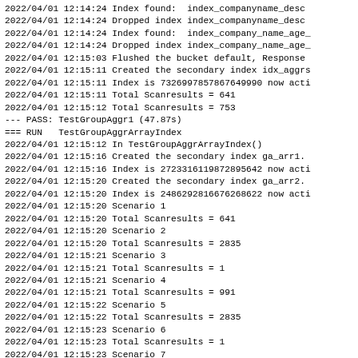2022/04/01 12:14:24 Index found:  index_companyname_desc
2022/04/01 12:14:24 Dropped index index_companyname_desc
2022/04/01 12:14:24 Index found:  index_company_name_age_
2022/04/01 12:14:24 Dropped index index_company_name_age_
2022/04/01 12:15:03 Flushed the bucket default, Response
2022/04/01 12:15:11 Created the secondary index idx_aggrs
2022/04/01 12:15:11 Index is 7326997857867649990 now acti
2022/04/01 12:15:11 Total Scanresults = 641
2022/04/01 12:15:12 Total Scanresults = 753
--- PASS: TestGroupAggr1 (47.87s)
=== RUN   TestGroupAggrArrayIndex
2022/04/01 12:15:12 In TestGroupAggrArrayIndex()
2022/04/01 12:15:16 Created the secondary index ga_arr1.
2022/04/01 12:15:16 Index is 2723316119872895642 now acti
2022/04/01 12:15:20 Created the secondary index ga_arr2.
2022/04/01 12:15:20 Index is 2486292816676268622 now acti
2022/04/01 12:15:20 Scenario 1
2022/04/01 12:15:20 Total Scanresults = 641
2022/04/01 12:15:20 Scenario 2
2022/04/01 12:15:20 Total Scanresults = 2835
2022/04/01 12:15:21 Scenario 3
2022/04/01 12:15:21 Total Scanresults = 1
2022/04/01 12:15:21 Scenario 4
2022/04/01 12:15:21 Total Scanresults = 991
2022/04/01 12:15:22 Scenario 5
2022/04/01 12:15:22 Total Scanresults = 2835
2022/04/01 12:15:23 Scenario 6
2022/04/01 12:15:23 Total Scanresults = 1
2022/04/01 12:15:23 Scenario 7
2022/04/01 12:15:23 Total Scanresults = 2931